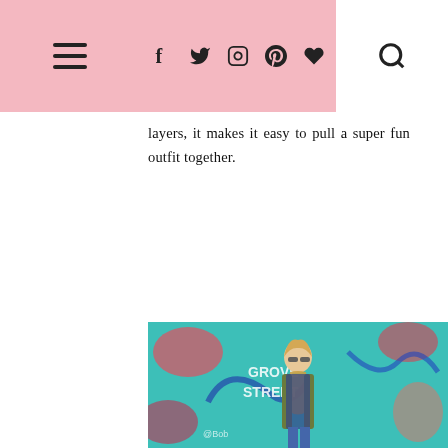Navigation bar with menu, social icons (Facebook, Twitter, Instagram, Pinterest, Bloglovin), and search
layers, it makes it easy to pull a super fun outfit together.
[Figure (photo): Woman standing in front of a colorful graffiti wall (teal, pink, red) wearing sunglasses, a leopard print scarf, olive green vest, navy gingham shirt, and jeans. The graffiti reads 'Grove Street'.]